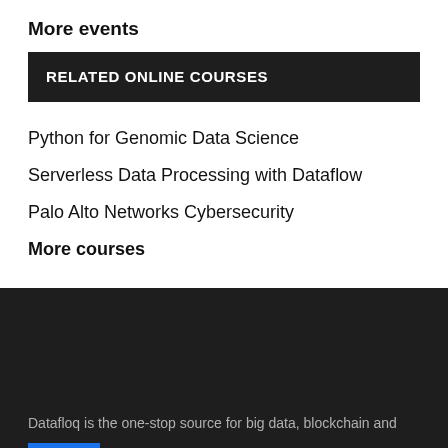More events
RELATED ONLINE COURSES
Python for Genomic Data Science
Serverless Data Processing with Dataflow
Palo Alto Networks Cybersecurity
More courses
Datafloq is the one-stop source for big data, blockchain and